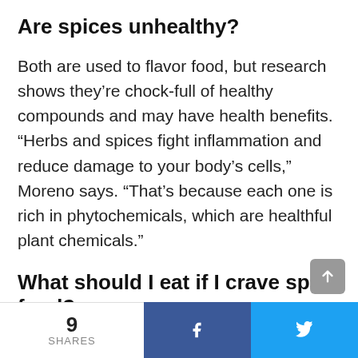Are spices unhealthy?
Both are used to flavor food, but research shows they’re chock-full of healthy compounds and may have health benefits. “Herbs and spices fight inflammation and reduce damage to your body’s cells,” Moreno says. “That’s because each one is rich in phytochemicals, which are healthful plant chemicals.”
What should I eat if I crave spicy food?
Spicy Food Cravings
9 SHARES  f  🐦